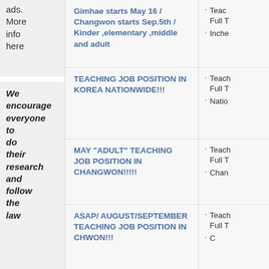ads. More info here
Gimhae starts May 16 / Changwon starts Sep.5th / Kinder ,elementary ,middle and adult
Teach Full T
Inche
TEACHING JOB POSITION IN KOREA NATIONWIDE!!!
Teach Full T
Natio
We encourage everyone to do their research and follow the law
MAY "ADULT" TEACHING JOB POSITION IN CHANGWON!!!!!
Teach Full T
Chan
ASAP/ AUGUST/SEPTEMBER TEACHING JOB POSITION IN CHWON!!!
Teach Full T
C